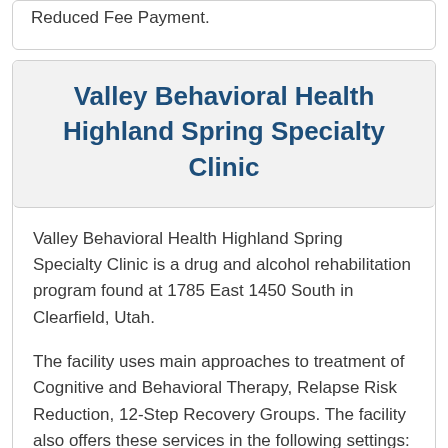Reduced Fee Payment.
Valley Behavioral Health Highland Spring Specialty Clinic
Valley Behavioral Health Highland Spring Specialty Clinic is a drug and alcohol rehabilitation program found at 1785 East 1450 South in Clearfield, Utah.
The facility uses main approaches to treatment of Cognitive and Behavioral Therapy, Relapse Risk Reduction, 12-Step Recovery Groups. The facility also offers these services in the following settings: